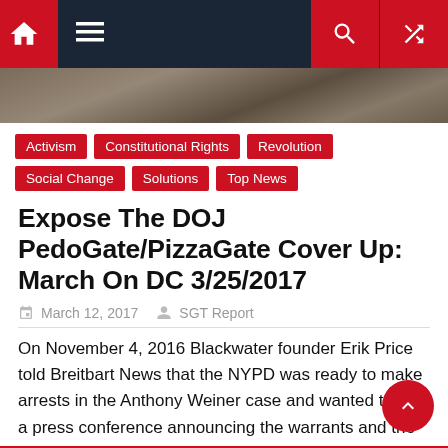Navigation bar with home, menu, search, shuffle icons
[Figure (photo): Crowd/rally photograph used as hero banner strip]
Activism
Constitutional Rights
Revolution
Social Change
Solutions
Top News
Expose The DOJ PedoGate/PizzaGate Cover Up: March On DC 3/25/2017
March 12, 2017   SGT Report
On November 4, 2016 Blackwater founder Erik Price told Breitbart News that the NYPD was ready to make arrests in the Anthony Weiner case and wanted to do a press conference announcing the warrants and the additional arrests they were making, but received “huge pushback” from the Justice Department. According to inside sources, the more
Read M